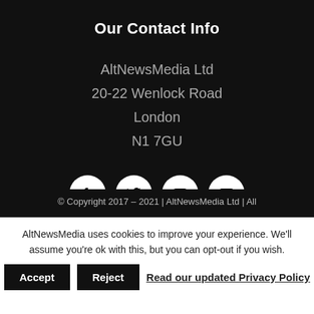Our Contact Info
AltNewsMedia Ltd
20-22 Wenlock Road
London
N1 7GU
[Figure (other): Social media icons: Facebook, Twitter, YouTube, Email — white circles with black icons on dark background]
© Copyright 2017 – 2021 | AltNewsMedia Ltd | All
AltNewsMedia uses cookies to improve your experience. We'll assume you're ok with this, but you can opt-out if you wish.
Accept   Reject   Read our updated Privacy Policy